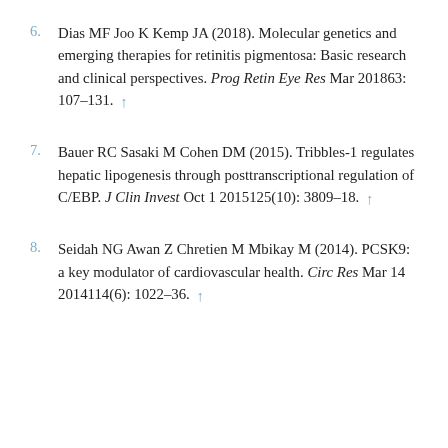6. Dias MF Joo K Kemp JA (2018). Molecular genetics and emerging therapies for retinitis pigmentosa: Basic research and clinical perspectives. Prog Retin Eye Res Mar 201863: 107–131. ↑
7. Bauer RC Sasaki M Cohen DM (2015). Tribbles-1 regulates hepatic lipogenesis through posttranscriptional regulation of C/EBP. J Clin Invest Oct 1 2015125(10): 3809–18. ↑
8. Seidah NG Awan Z Chretien M Mbikay M (2014). PCSK9: a key modulator of cardiovascular health. Circ Res Mar 14 2014114(6): 1022–36. ↑